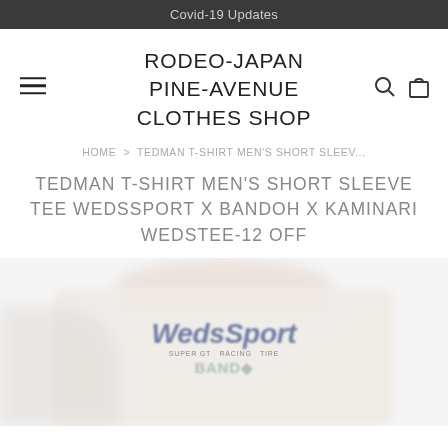Covid-19 Updates
RODEO-JAPAN
PINE-AVENUE
CLOTHES SHOP
HOME > TEDMAN T-SHIRT MEN'S SHORT SLEEV...
TEDMAN T-SHIRT MEN'S SHORT SLEEVE TEE WEDSSPORT X BANDOH X KAMINARI WEDSTEE-12 OFF
[Figure (photo): Partial view of a white t-shirt with WedsSport x Bandoh branding logo, blurred/partially visible]